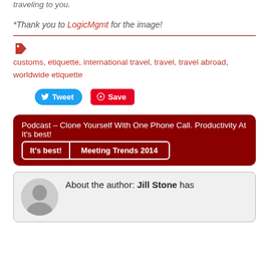traveling to you.
*Thank you to LogicMgmt for the image!
customs, etiquette, international travel, travel, travel abroad, worldwide etiquette
[Figure (screenshot): Social sharing buttons: Tweet (Twitter) and Save (Pinterest)]
Podcast – Clone Yourself With One Phone Call. Productivity At It's best! | Meeting Trends 2014
About the author: Jill Stone has